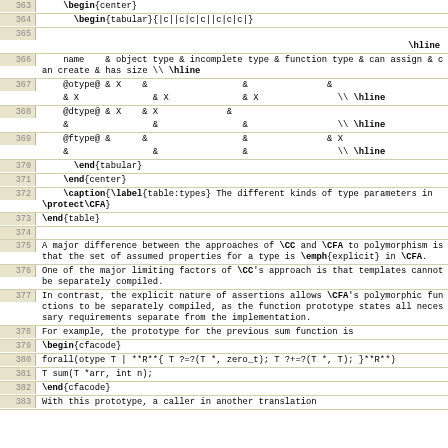363: \begin{center}
364: \begin{tabular}{|c||c|c|c||c|c|c|}
365: (blank)
\hline
366: name & object type & incomplete type & function type & can assign & can create & has size \\ \hline
367: @otype@ & X & & & X & X & X \\ \hline
368: @dtype@ & X & X & & & & \\ \hline
369: @ftype@ & & & & X & & \\ \hline
370: \end{tabular}
371: \end{center}
372: \caption{\label{table:types} The different kinds of type parameters in \protect\CFA}
373: \end{table}
374: (blank)
375: A major difference between the approaches of \CC and \CFA to polymorphism is that the set of assumed properties for a type is \emph{explicit} in \CFA.
376: One of the major limiting factors of \CC's approach is that templates cannot be separately compiled.
377: In contrast, the explicit nature of assertions allows \CFA's polymorphic functions to be separately compiled, as the function prototype states all necessary requirements separate from the implementation.
378: For example, the prototype for the previous sum function is
379: \begin{cfacode}
380: forall(otype T | **R**{ T ?=?(T *, zero_t); T ?+=?(T *, T); }**R**)
381: T sum(T *arr, int n);
382: \end{cfacode}
383: With this prototype, a caller in another translation...